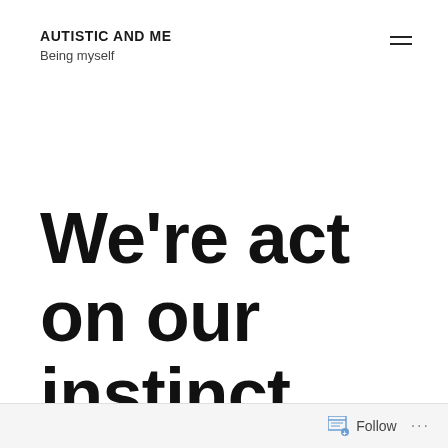AUTISTIC AND ME
Being myself
We're act on our instinct when we're in danger (Notifications
Follow ...